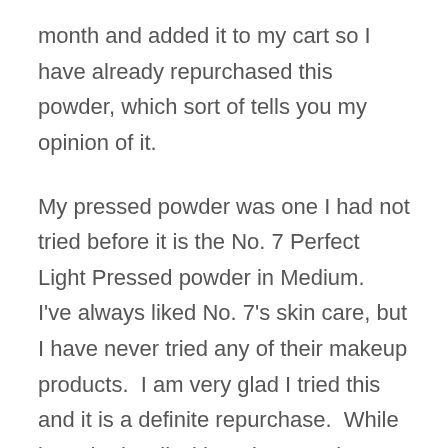month and added it to my cart so I have already repurchased this powder, which sort of tells you my opinion of it.

My pressed powder was one I had not tried before it is the No. 7 Perfect Light Pressed powder in Medium.  I've always liked No. 7's skin care, but I have never tried any of their makeup products.  I am very glad I tried this and it is a definite repurchase.  While it worked well with makeup, I also liked using it on my bare face for days I just didn't really feel like bothering with much.  It has just enough tint that it evened out my skin tone and it felt great on my face.  If I was inside all day it lasted a long time with nothing but a setting spray over it.  Outside it sweated off because it's June in Tennessee.  But I